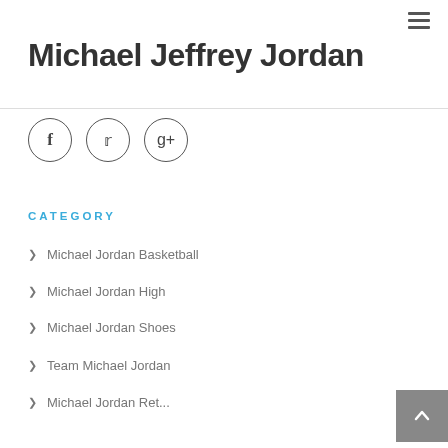Michael Jeffrey Jordan
[Figure (infographic): Social media icons: Facebook, Twitter, Google+]
CATEGORY
Michael Jordan Basketball
Michael Jordan High
Michael Jordan Shoes
Team Michael Jordan
Michael Jordan Ret...